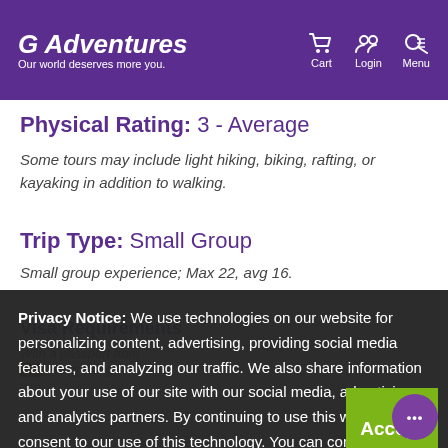G Adventures — Our world deserves more you. | Cart | Login | Menu
Physical Rating: 3 - Average
Some tours may include light hiking, biking, rafting, or kayaking in addition to walking.
Trip Type: Small Group
Small group experience; Max 22, avg 16.
Visa Requirements
With a passport from
Hong Kong
Privacy Notice: We use technologies on our website for personalizing content, advertising, providing social media features, and analyzing our traffic. We also share information about your use of our site with our social media, advertising and analytics partners. By continuing to use this website, you consent to our use of this technology. You can control this through your Privacy Options.